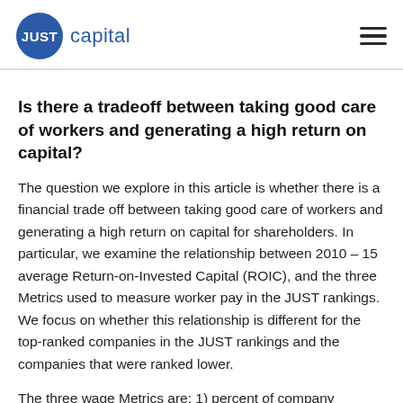JUST capital
Is there a tradeoff between taking good care of workers and generating a high return on capital?
The question we explore in this article is whether there is a financial trade off between taking good care of workers and generating a high return on capital for shareholders. In particular, we examine the relationship between 2010 – 15 average Return-on-Invested Capital (ROIC), and the three Metrics used to measure worker pay in the JUST rankings. We focus on whether this relationship is different for the top-ranked companies in the JUST rankings and the companies that were ranked lower.
The three wage Metrics are: 1) percent of company employees who earn a living wage as calculated by